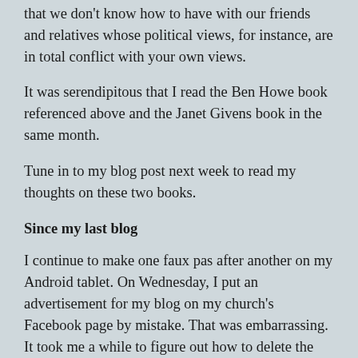that we don't know how to have with our friends and relatives whose political views, for instance, are in total conflict with your own views.
It was serendipitous that I read the Ben Howe book referenced above and the Janet Givens book in the same month.
Tune in to my blog post next week to read my thoughts on these two books.
Since my last blog
I continue to make one faux pas after another on my Android tablet. On Wednesday, I put an advertisement for my blog on my church's Facebook page by mistake. That was embarrassing. It took me a while to figure out how to delete the post.